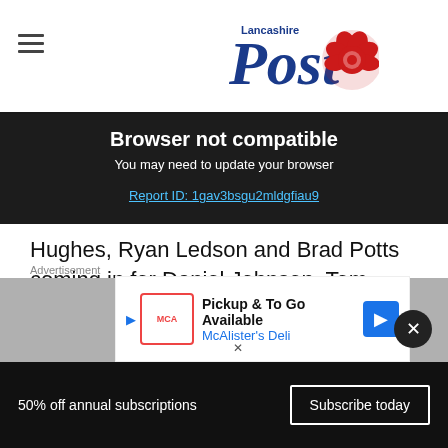Lancashire Post
Browser not compatible
You may need to update your browser
Report ID: 1gav3bsgu2mldgfiau9
Hughes, Ryan Ledson and Brad Potts coming in for Daniel Johnson, Tom Barkhuizen and Joe Rafferty.
The boys started well with Hughes heading just wide early on.
[Figure (other): McAlister's Deli advertisement: Pickup & To Go Available]
Advertisement
50% off annual subscriptions
Subscribe today